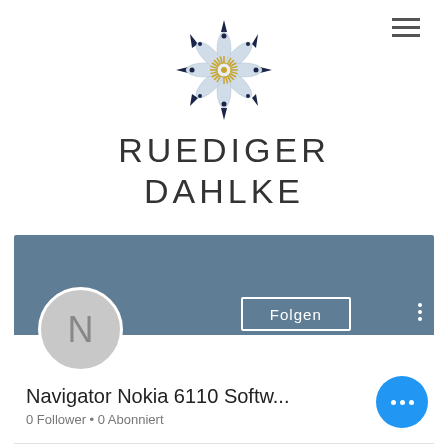[Figure (logo): Ruediger Dahlke website logo — decorative mandala/snowflake with navy blue star points, white petals, and gold center starburst]
RUEDIGER DAHLKE
[Figure (screenshot): Google account profile card with steel-blue banner, circular avatar with letter N, Folgen (Follow) button, and vertical dots menu. Below banner shows profile name 'Navigator Nokia 6110 Softw...' and '0 Follower • 0 Abonniert']
Navigator Nokia 6110 Softw...
0 Follower • 0 Abonniert